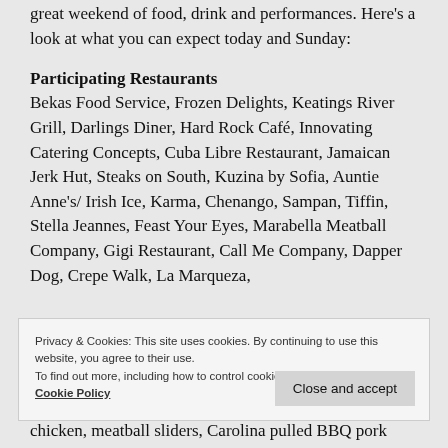great weekend of food, drink and performances. Here's a look at what you can expect today and Sunday:
Participating Restaurants
Bekas Food Service, Frozen Delights, Keatings River Grill, Darlings Diner, Hard Rock Café, Innovating Catering Concepts, Cuba Libre Restaurant, Jamaican Jerk Hut, Steaks on South, Kuzina by Sofia, Auntie Anne's/ Irish Ice, Karma, Chenango, Sampan, Tiffin, Stella Jeannes, Feast Your Eyes, Marabella Meatball Company, Gigi Restaurant, Call Me Company, Dapper Dog, Crepe Walk, La Marqueza,
Privacy & Cookies: This site uses cookies. By continuing to use this website, you agree to their use.
To find out more, including how to control cookies, see here:
Cookie Policy
chicken, meatball sliders, Carolina pulled BBQ pork